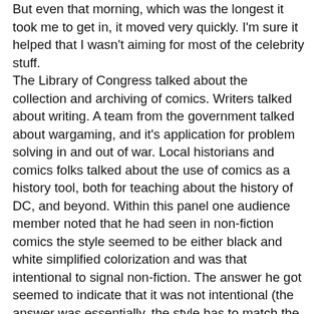But even that morning, which was the longest it took me to get in, it moved very quickly.  I'm sure it helped that I wasn't aiming for most of the celebrity stuff.
The Library of Congress talked about the collection and archiving of comics.  Writers talked about writing. A team from the government talked about wargaming, and it's application for problem solving in and out of war.  Local historians and comics folks talked about the use of comics as a history tool, both for teaching about the history of DC, and beyond.  Within this panel one audience member noted that he had seen in non-fiction comics the style seemed to be either black and white simplified colorization and was that intentional to signal non-fiction. The answer he got seemed to indicate that it was not intentional (the answer was essentially, the style has to match the story, which sure).  It's possible this isn't intentional, or that it really signals more the difference in artists working non-fiction titles versus fiction right now.  But it's certainly a question that I've kept thinking about.
I went to a panel on nerd rock, which involved singing and was about as much as my brain could happen at that point.  And then Fandom as a Subversive act, which looked at fanfic and how it can address and even correct issues in